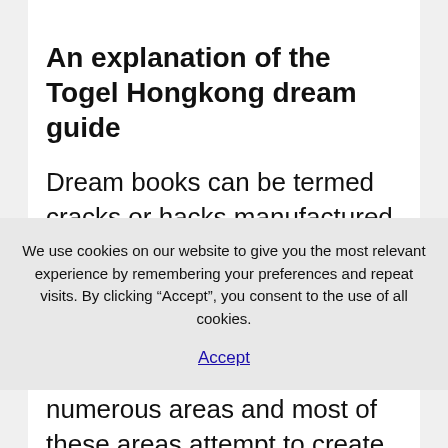An explanation of the Togel Hongkong dream guide
Dream books can be termed cracks or hacks manufactured by lottery takers so that they can predict lottery outcomes
We use cookies on our website to give you the most relevant experience by remembering your preferences and repeat visits. By clicking “Accept”, you consent to the use of all cookies.
Accept
numerous areas and most of these areas attempt to create their personal dream books based mostly on nearby wisdom that they feel in. Selecting the correct dream guide will also be based mostly on